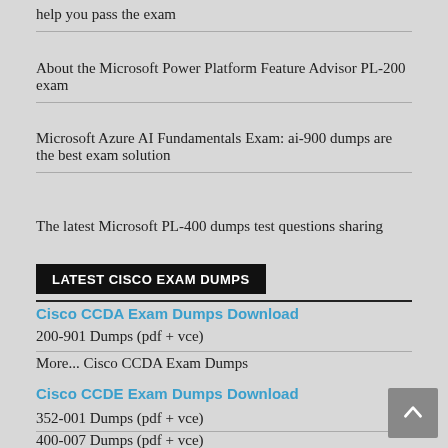help you pass the exam
About the Microsoft Power Platform Feature Advisor PL-200 exam
Microsoft Azure AI Fundamentals Exam: ai-900 dumps are the best exam solution
The latest Microsoft PL-400 dumps test questions sharing
LATEST CISCO EXAM DUMPS
Cisco CCDA Exam Dumps Download
200-901 Dumps (pdf + vce)
More... Cisco CCDA Exam Dumps
Cisco CCDE Exam Dumps Download
352-001 Dumps (pdf + vce)
400-007 Dumps (pdf + vce)